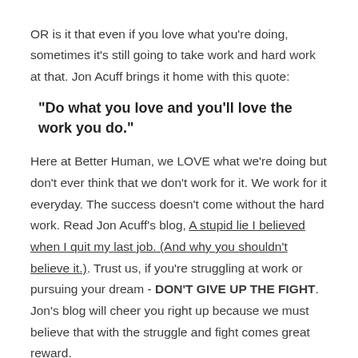OR is it that even if you love what you're doing, sometimes it's still going to take work and hard work at that. Jon Acuff brings it home with this quote:
"Do what you love and you'll love the work you do."
Here at Better Human, we LOVE what we're doing but don't ever think that we don't work for it. We work for it everyday. The success doesn't come without the hard work. Read Jon Acuff's blog, A stupid lie I believed when I quit my last job. (And why you shouldn't believe it.). Trust us, if you're struggling at work or pursuing your dream - DON'T GIVE UP THE FIGHT. Jon's blog will cheer you right up because we must believe that with the struggle and fight comes great reward.